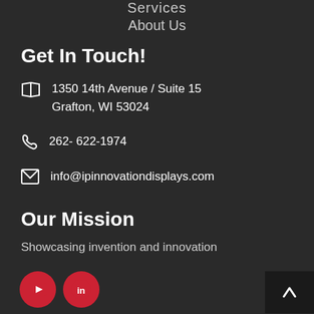Services
About Us
Get In Touch!
1350 14th Avenue / Suite 15
Grafton, WI 53024
262- 622-1974
info@ipinnovationdisplays.com
Our Mission
Showcasing invention and innovation
[Figure (other): YouTube and LinkedIn social media buttons (red circles with white icons), and a back-to-top arrow button]